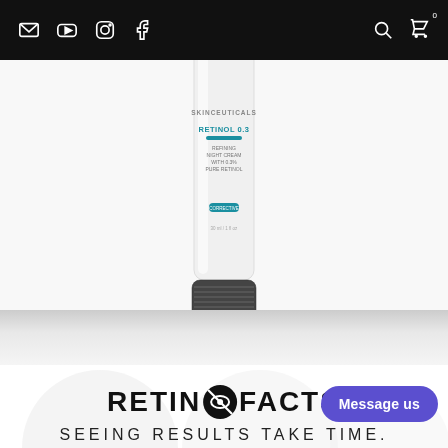Navigation bar with email, YouTube, Instagram, Facebook icons on left; search and cart icons on right
[Figure (photo): SkinCeuticals Retinol 0.3 product tube, white with teal/blue accents, shown against a light background. The tube reads: SKINCEUTICALS, RETINOL 0.3, REFINING NIGHT CREAM WITH 0.3% PURE RETINOL, 30 ml / 1 fl oz. The black cap is visible at the bottom.]
RETINO FACTS
SEEING RESULTS TAKE TIME.